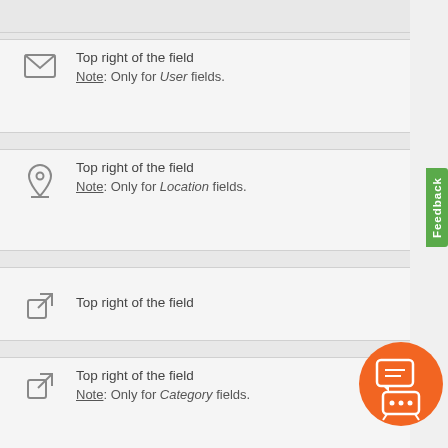Top right of the field
Note: Only for User fields.
Top right of the field
Note: Only for Location fields.
Top right of the field
Top right of the field
Note: Only for Category fields.
Top right of the field
Note: Only for Service fields.
On hover over the field